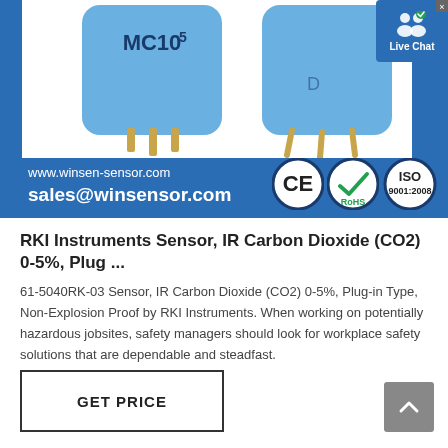[Figure (photo): Product image banner showing two blue MC105 IR CO2 sensors on white background with blue border. Bottom of banner shows website www.winsen-sensor.com and email sales@winsensor.com in white text on blue. CE, RoHS, and ISO 9001:2008 certification badges on the right. A Live Chat button overlay on the right side.]
RKI Instruments Sensor, IR Carbon Dioxide (CO2) 0-5%, Plug ...
61-5040RK-03 Sensor, IR Carbon Dioxide (CO2) 0-5%, Plug-in Type, Non-Explosion Proof by RKI Instruments. When working on potentially hazardous jobsites, safety managers should look for workplace safety solutions that are dependable and steadfast.
GET PRICE